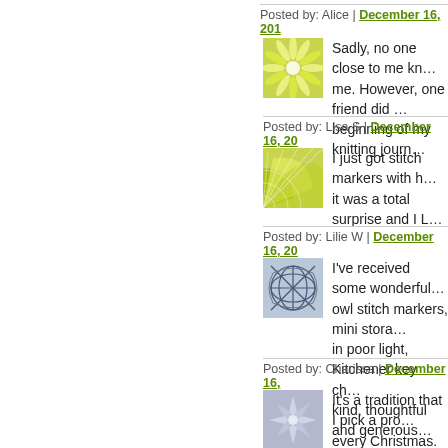Posted by: Alice | December 16, 201…
[Figure (illustration): Green flower/starburst decorative avatar icon]
Sadly, no one close to me kn… me. However, one friend did … beginning of my knitting journ…
Posted by: Lisa S | December 16, 20…
[Figure (illustration): Green quarter-circle fan/sun decorative avatar icon]
I just got stitch markers with h… it was a total surprise and I L…
Posted by: Lilie W | December 16, 20…
[Figure (illustration): Blue/grey abstract line drawing decorative avatar icon]
I've received some wonderful… owl stitch markers, mini stora… in poor light, Kitchener key ch… kind, thoughtful and generous…
Posted by: Charissa | December 16,…
[Figure (illustration): Blue/grey snowflake/starburst decorative avatar icon]
It's a tradition that I pick a pro… every Christmas. Best part is…